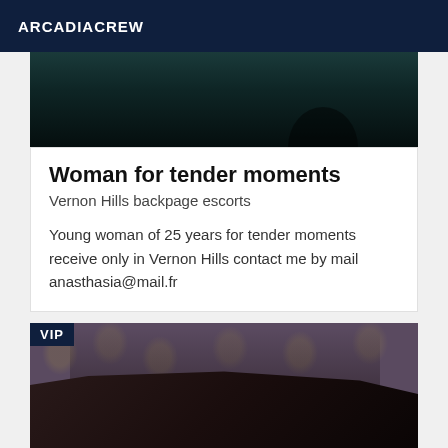ARCADIACREW
[Figure (photo): Partial top portion of a photo with dark teal background, appears to be a figure partially visible]
Woman for tender moments
Vernon Hills backpage escorts
Young woman of 25 years for tender moments receive only in Vernon Hills contact me by mail anasthasia@mail.fr
[Figure (photo): VIP-badged photo of a woman in black latex dress with curly black hair, posing on a leather chair in front of decorative gold-pattern wallpaper]